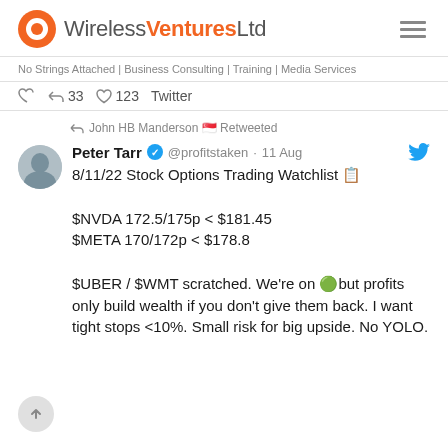Wireless Ventures Ltd
No Strings Attached | Business Consulting | Training | Media Services
33 retweets 123 likes Twitter
John HB Manderson Retweeted
Peter Tarr @profitstaken · 11 Aug
8/11/22 Stock Options Trading Watchlist

$NVDA 172.5/175p < $181.45
$META 170/172p < $178.8

$UBER / $WMT scratched. We're on but profits only build wealth if you don't give them back. I want tight stops <10%. Small risk for big upside. No YOLO.